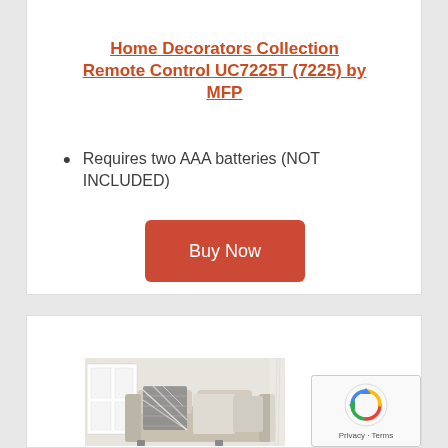Home Decorators Collection Remote Control UC7225T (7225) by MFP
Requires two AAA batteries (NOT INCLUDED)
[Figure (other): Red 'Buy Now' button]
[Figure (photo): Photo of a sofa with decorative pillows in a living room setting]
[Figure (other): Google reCAPTCHA widget overlay with Privacy and Terms links]